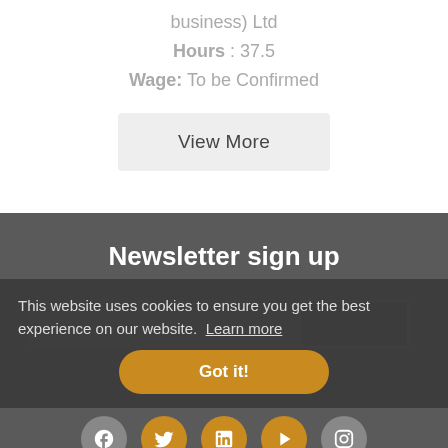business) Ltd
Hours : 37.5
Wage: To be Confirmed
View More
Newsletter sign up
This website uses cookies to ensure you get the best experience on our website. Learn more
Got it!